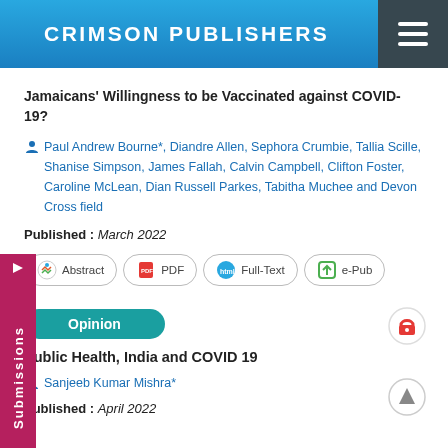CRIMSON PUBLISHERS
Jamaicans' Willingness to be Vaccinated against COVID-19?
Paul Andrew Bourne*, Diandre Allen, Sephora Crumbie, Tallia Scille, Shanise Simpson, James Fallah, Calvin Campbell, Clifton Foster, Caroline McLean, Dian Russell Parkes, Tabitha Muchee and Devon Cross field
Published : March 2022
Abstract | PDF | Full-Text | e-Pub
Opinion
Public Health, India and COVID 19
Sanjeeb Kumar Mishra*
Published : April 2022